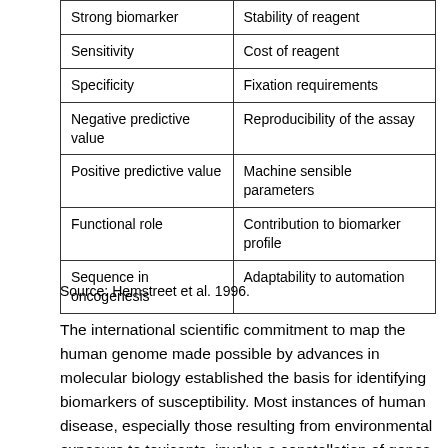| Strong biomarker | Stability of reagent |
| Sensitivity | Cost of reagent |
| Specificity | Fixation requirements |
| Negative predictive value | Reproducibility of the assay |
| Positive predictive value | Machine sensible parameters |
| Functional role | Contribution to biomarker profile |
| Sequence in oncogenesis | Adaptability to automation |
Source: Hemstreet et al. 1996.
The international scientific commitment to map the human genome made possible by advances in molecular biology established the basis for identifying biomarkers of susceptibility. Most instances of human disease, especially those resulting from environmental exposure to toxicants, involve a constellation of genes reflecting marked genetic diversity (genetic polymorphism). An example of such a gene product, as mentioned previously, is the P-450 oxidative